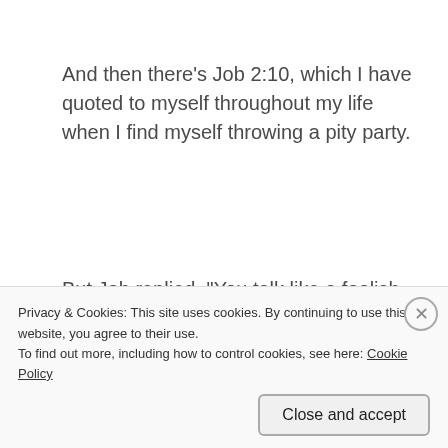And then there's Job 2:10, which I have quoted to myself throughout my life when I find myself throwing a pity party.
But Job replied, “You talk like a foolish woman. Should we accept only good things from the hand of God and never anything bad?” So in all this, Job said nothing wrong.
Privacy & Cookies: This site uses cookies. By continuing to use this website, you agree to their use.
To find out more, including how to control cookies, see here: Cookie Policy
Close and accept